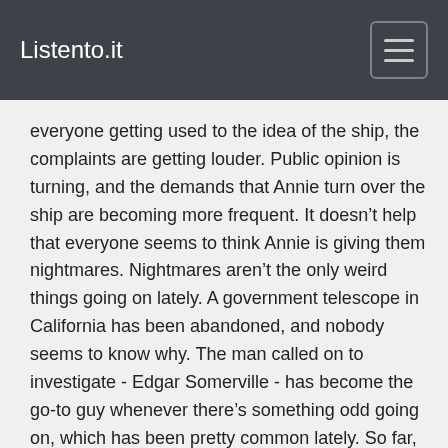Listento.it
everyone getting used to the idea of the ship, the complaints are getting louder. Public opinion is turning, and the demands that Annie turn over the ship are becoming more frequent. It doesn’t help that everyone seems to think Annie is giving them nightmares. Nightmares aren’t the only weird things going on lately. A government telescope in California has been abandoned, and nobody seems to know why. The man called on to investigate - Edgar Somerville - has become the go-to guy whenever there’s something odd going on, which has been pretty common lately. So far, nothing has panned out: no aliens or zombies or anything else that might be deemed legitimately peculiar...but now may be different, and not just because Ed can’t find an easy explanation. This isn’t the only telescope where people have gone missing, and the clues left behind lead back to Annie. It all adds up to a new threat that the world may just need saving from, requiring the